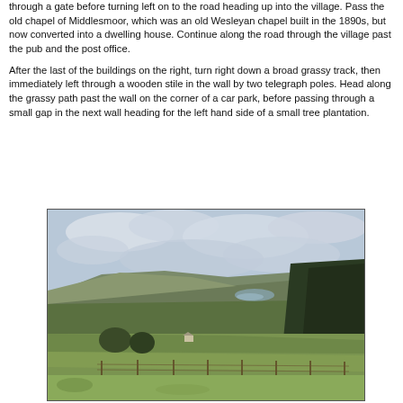through a gate before turning left on to the road heading up into the village. Pass the old chapel of Middlesmoor, which was an old Wesleyan chapel built in the 1890s, but now converted into a dwelling house. Continue along the road through the village past the pub and the post office.
After the last of the buildings on the right, turn right down a broad grassy track, then immediately left through a wooden stile in the wall by two telegraph poles. Head along the grassy path past the wall on the corner of a car park, before passing through a small gap in the next wall heading for the left hand side of a small tree plantation.
[Figure (photo): Landscape photograph showing a wide moorland valley view with rolling hills, green fields in the foreground with a fence line, a reservoir or lake visible in the middle distance, dark conifer trees on the right, and a cloudy sky overhead.]